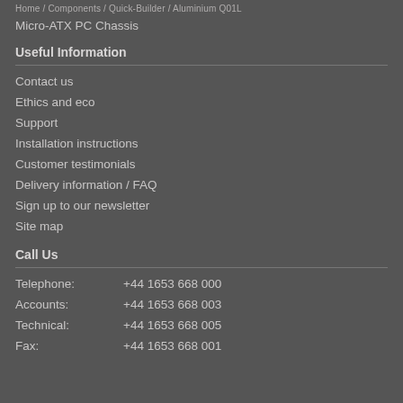Home / Components / Quick-Builder / Aluminium Q01L
Micro-ATX PC Chassis
Useful Information
Contact us
Ethics and eco
Support
Installation instructions
Customer testimonials
Delivery information / FAQ
Sign up to our newsletter
Site map
Call Us
Telephone:   +44 1653 668 000
Accounts:    +44 1653 668 003
Technical:   +44 1653 668 005
Fax:         +44 1653 668 001